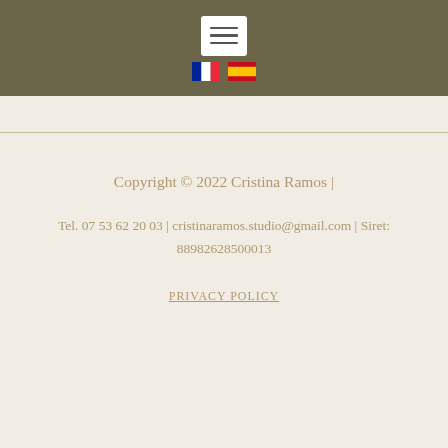[Figure (screenshot): Dark olive/khaki navigation header bar with a white hamburger menu button and two flag icons (French and Spanish flags) centered below it.]
Copyright © 2022 Cristina Ramos |
Tel. 07 53 62 20 03 | cristinaramos.studio@gmail.com | Siret: 88982628500013
PRIVACY POLICY